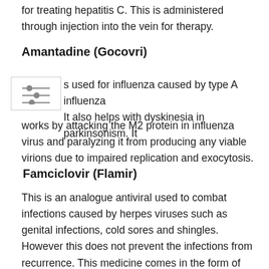for treating hepatitis C. This is administered through injection into the vein for therapy.
Amantadine (Gocovri)
[Figure (other): Small icon showing horizontal sliders/filter controls with adjustment markers]
s used for influenza caused by type A influenza It also helps with dyskinesia in parkinsonism. It works by attacking the M2 protein in influenza virus and paralyzing it from producing any viable virions due to impaired replication and exocytosis.
Famciclovir (Flamir)
This is an analogue antiviral used to combat infections caused by herpes viruses such as genital infections, cold sores and shingles.  However this does not prevent the infections from recurrence. This medicine comes in the form of tablets for consumption and used to mitigate the symptoms.